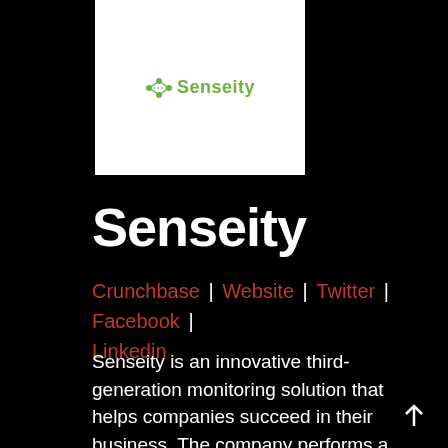[Figure (logo): Senseity company logo: green icon with network nodes and green bold text 'Senseity' on white background]
Senseity
Crunchbase | Website | Twitter | Facebook | Linkedin
Senseity is an innovative third-generation monitoring solution that helps companies succeed in their business. The company performs a holistic end-to-end process-based monitoring covering IT and OT Operates in the Enterprise, Smart City,